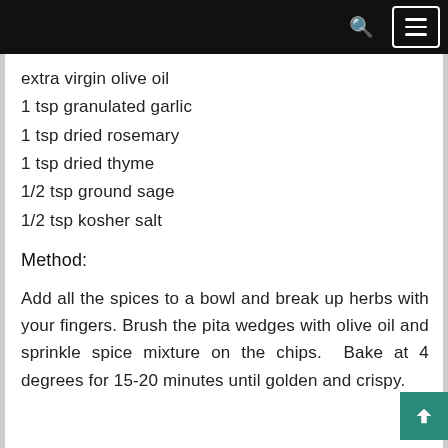extra virgin olive oil
1 tsp granulated garlic
1 tsp dried rosemary
1 tsp dried thyme
1/2 tsp ground sage
1/2 tsp kosher salt
Method:
Add all the spices to a bowl and break up herbs with your fingers. Brush the pita wedges with olive oil and sprinkle spice mixture on the chips. Bake at 4 degrees for 15-20 minutes until golden and crispy.